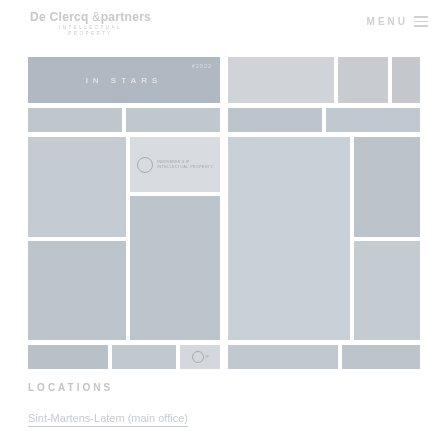De Clercq & partners INTELLECTUAL PROPERTY | MENU
[Figure (photo): Photo collage grid showing two columns of images: left column has a banner reading 'IN STARS 2022' and multiple event/conference photos with badges; right column has various event and group photos]
LOCATIONS
Sint-Martens-Latem (main office)